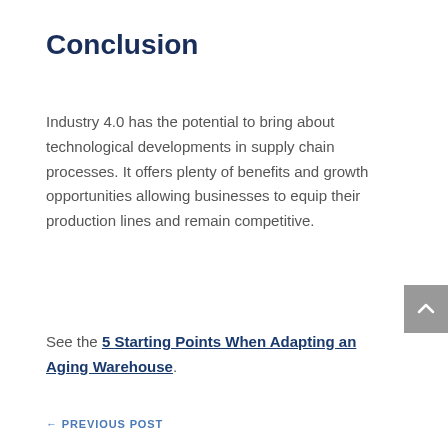Conclusion
Industry 4.0 has the potential to bring about technological developments in supply chain processes. It offers plenty of benefits and growth opportunities allowing businesses to equip their production lines and remain competitive.
See the 5 Starting Points When Adapting an Aging Warehouse.
← PREVIOUS POST